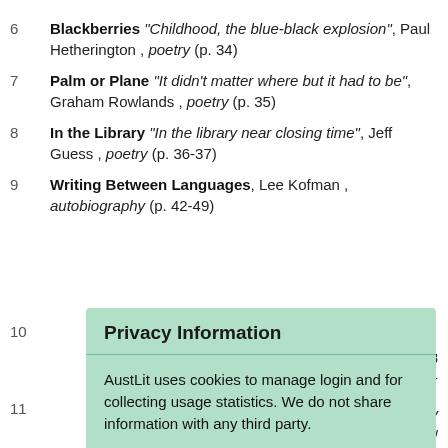6  Blackberries "Childhood, the blue-black explosion", Paul Hetherington , poetry (p. 34)
7  Palm or Plane "It didn't matter where but it had to be", Graham Rowlands , poetry (p. 35)
8  In the Library "In the library near closing time", Jeff Guess , poetry (p. 36-37)
9  Writing Between Languages, Lee Kofman , autobiography (p. 42-49)
10  [partial - obscured by overlay]
11  [partial - obscured by overlay]
Privacy Information
AustLit uses cookies to manage login and for collecting usage statistics. We do not share information with any third party.